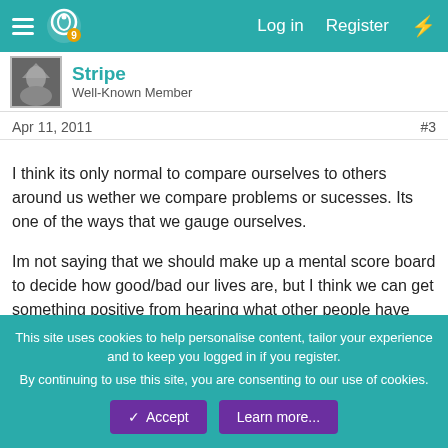Log in  Register
Stripe
Well-Known Member
Apr 11, 2011   #3
I think its only normal to compare ourselves to others around us wether we compare problems or sucesses. Its one of the ways that we gauge ourselves.

Im not saying that we should make up a mental score board to decide how good/bad our lives are, but I think we can get something positive from hearing what other people have been through and how they overcame it. Particularly when someone has gone through a simular experiance to ourselves.
I agree, no one will ever know exactly what its like to be you, but its nice when people listen and try to understand. It personally
This site uses cookies to help personalise content, tailor your experience and to keep you logged in if you register.
By continuing to use this site, you are consenting to our use of cookies.